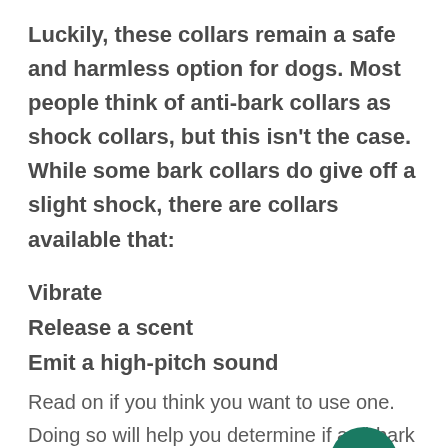Luckily, these collars remain a safe and harmless option for dogs. Most people think of anti-bark collars as shock collars, but this isn't the case. While some bark collars do give off a slight shock, there are collars available that:
Vibrate
Release a scent
Emit a high-pitch sound
Read on if you think you want to use one. Doing so will help you determine if anti-bark collars are harmful to dogs